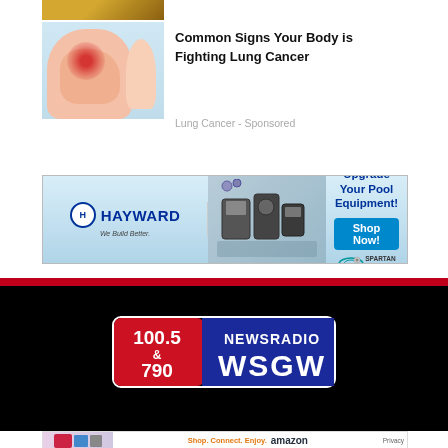[Figure (photo): Partial view of an outdoor landscape photo at top]
[Figure (photo): Medical illustration of an arm/elbow joint with a red inflammation glow indicating pain]
Common Signs Your Body is Fighting Lung Cancer
Lung Cancer - Sponsored
[Figure (other): Hayward pool equipment banner ad: Upgrade Your Pool Equipment! Shop Now! - Spartan Pools. We Build Better.]
[Figure (logo): WSGW Newsradio logo: 100.5 & 790 NEWSRADIO WSGW on black background]
[Figure (other): Amazon banner ad: Shop. Connect. Enjoy. Shop now. Amazon Privacy]